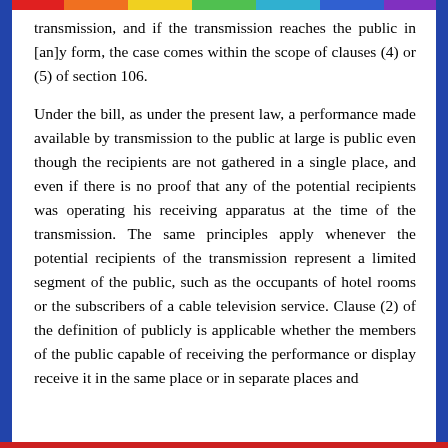transmission, and if the transmission reaches the public in [an]y form, the case comes within the scope of clauses (4) or (5) of section 106.
Under the bill, as under the present law, a performance made available by transmission to the public at large is public even though the recipients are not gathered in a single place, and even if there is no proof that any of the potential recipients was operating his receiving apparatus at the time of the transmission. The same principles apply whenever the potential recipients of the transmission represent a limited segment of the public, such as the occupants of hotel rooms or the subscribers of a cable television service. Clause (2) of the definition of publicly is applicable whether the members of the public capable of receiving the performance or display receive it in the same place or in separate places and